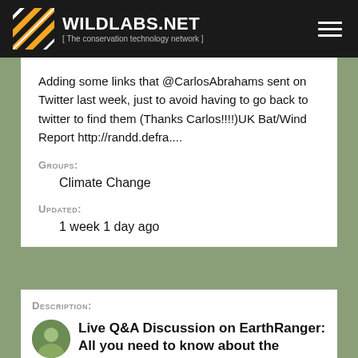WILDLABS.NET [ The conservation technology network ]
Adding some links that @CarlosAbrahams sent on Twitter last week, just to avoid having to go back to twitter to find them (Thanks Carlos!!!!)UK Bat/Wind Report http://randd.defra....
Groups:
Climate Change
Updated:
1 week 1 day ago
Description:
Live Q&A Discussion on EarthRanger: All you need to know about the system!